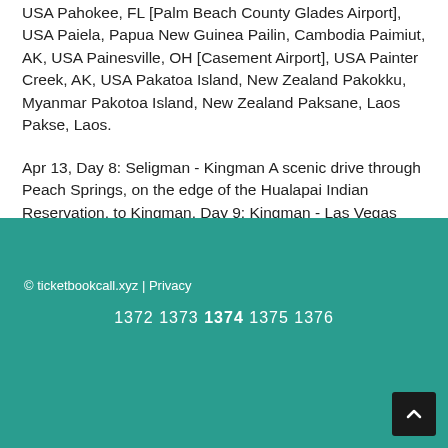USA Pahokee, FL [Palm Beach County Glades Airport], USA Paiela, Papua New Guinea Pailin, Cambodia Paimiut, AK, USA Painesville, OH [Casement Airport], USA Painter Creek, AK, USA Pakatoa Island, New Zealand Pakokku, Myanmar Pakotoa Island, New Zealand Paksane, Laos Pakse, Laos.
Apr 13, Day 8: Seligman - Kingman A scenic drive through Peach Springs, on the edge of the Hualapai Indian Reservation, to Kingman. Day 9: Kingman - Las Vegas Spend a.
© ticketbookcall.xyz | Privacy
1372 1373 1374 1375 1376